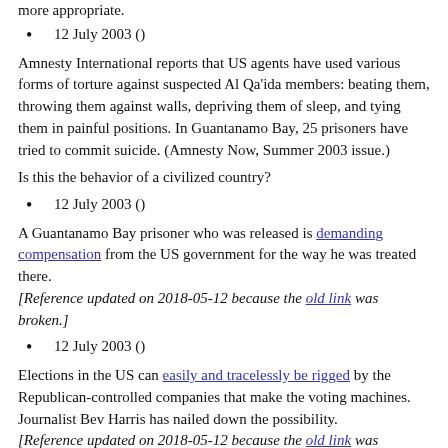more appropriate.
12 July 2003 ()
Amnesty International reports that US agents have used various forms of torture against suspected Al Qa'ida members: beating them, throwing them against walls, depriving them of sleep, and tying them in painful positions. In Guantanamo Bay, 25 prisoners have tried to commit suicide. (Amnesty Now, Summer 2003 issue.)
Is this the behavior of a civilized country?
12 July 2003 ()
A Guantanamo Bay prisoner who was released is demanding compensation from the US government for the way he was treated there. [Reference updated on 2018-05-12 because the old link was broken.]
12 July 2003 ()
Elections in the US can easily and tracelessly be rigged by the Republican-controlled companies that make the voting machines. Journalist Bev Harris has nailed down the possibility. [Reference updated on 2018-05-12 because the old link was broken.]